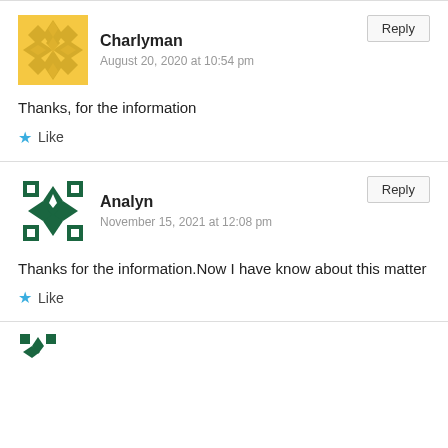Charlyman
August 20, 2020 at 10:54 pm
Reply
Thanks, for the information
Like
Analyn
November 15, 2021 at 12:08 pm
Reply
Thanks for the information.Now I have know about this matter
Like